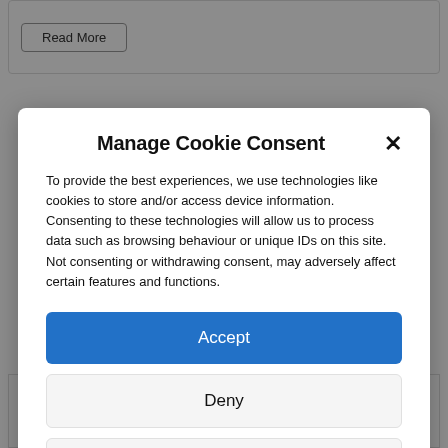[Figure (screenshot): Background web page content with a 'Read More' button at the top and 'Visit a museum' text at the bottom, partially obscured by a cookie consent overlay]
Manage Cookie Consent
To provide the best experiences, we use technologies like cookies to store and/or access device information. Consenting to these technologies will allow us to process data such as browsing behaviour or unique IDs on this site. Not consenting or withdrawing consent, may adversely affect certain features and functions.
Accept
Deny
View preferences
Cookie Policy   Privacy & Cookie Policy, Terms of Use